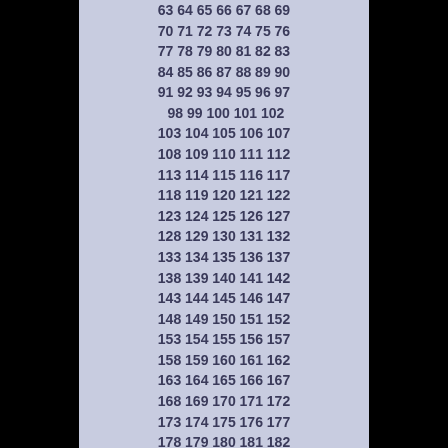63 64 65 66 67 68 69
70 71 72 73 74 75 76
77 78 79 80 81 82 83
84 85 86 87 88 89 90
91 92 93 94 95 96 97
98 99 100 101 102
103 104 105 106 107
108 109 110 111 112
113 114 115 116 117
118 119 120 121 122
123 124 125 126 127
128 129 130 131 132
133 134 135 136 137
138 139 140 141 142
143 144 145 146 147
148 149 150 151 152
153 154 155 156 157
158 159 160 161 162
163 164 165 166 167
168 169 170 171 172
173 174 175 176 177
178 179 180 181 182
183 184 185 186 187
188 189 190 191 192
193 194 195 196 197
198 199 200 201 202
203 204 205 206 207
208 209 210 211 212
213 214 215 216 217
218 219 220 221 222
223 224 225 226 227
228 229 230 231 232
233 234 235 236 237
238 239 240 241 242
243 244 245 246 247
248 249 250 251 252
253 254 255 256 257
258 259 260 261 262